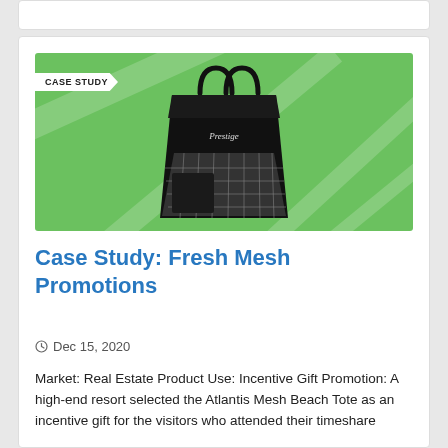[Figure (photo): Green background promotional image showing a black mesh beach tote bag with leather handles, with a white 'CASE STUDY' banner label in the top-left corner.]
Case Study: Fresh Mesh Promotions
Dec 15, 2020
Market: Real Estate Product Use: Incentive Gift Promotion: A high-end resort selected the Atlantis Mesh Beach Tote as an incentive gift for the visitors who attended their timeshare